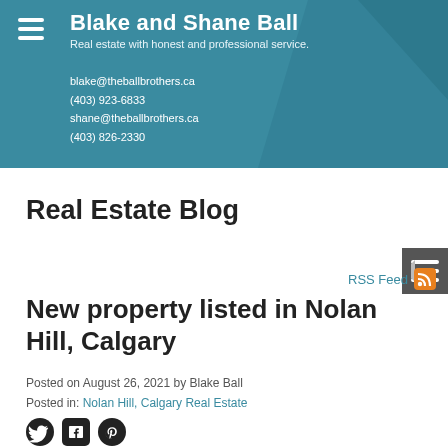Blake and Shane Ball
Real estate with honest and professional service.
blake@theballbrothers.ca
(403) 923-6833
shane@theballbrothers.ca
(403) 826-2330
Real Estate Blog
RSS Feed
New property listed in Nolan Hill, Calgary
Posted on August 26, 2021 by Blake Ball
Posted in: Nolan Hill, Calgary Real Estate